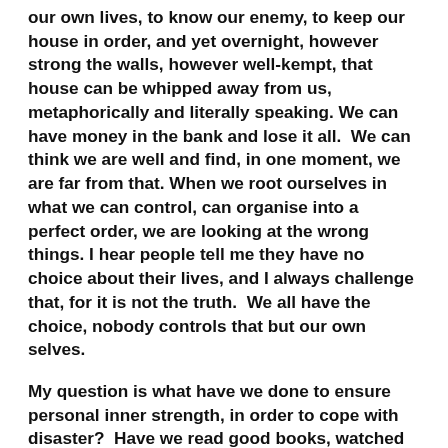our own lives, to know our enemy, to keep our house in order, and yet overnight, however strong the walls, however well-kempt, that house can be whipped away from us, metaphorically and literally speaking. We can have money in the bank and lose it all.  We can think we are well and find, in one moment, we are far from that. When we root ourselves in what we can control, can organise into a perfect order, we are looking at the wrong things. I hear people tell me they have no choice about their lives, and I always challenge that, for it is not the truth.  We all have the choice, nobody controls that but our own selves.
My question is what have we done to ensure personal inner strength, in order to cope with disaster?  Have we read good books, watched mountains re-appear, paid attention to what our loved ones don't say? Have we